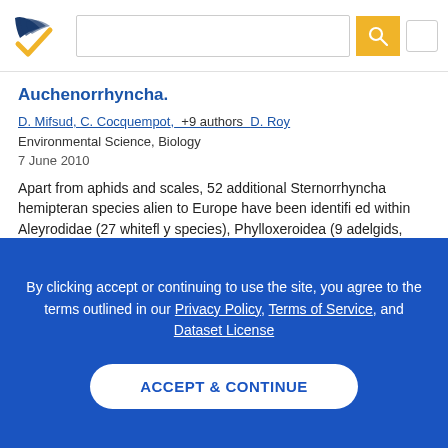Semantic Scholar search interface header with logo and search bar
Auchenorrhyncha.
D. Mifsud, C. Cocquempot,  +9 authors  D. Roy
Environmental Science, Biology
7 June 2010
Apart from aphids and scales, 52 additional Sternorrhyncha hemipteran species alien to Europe have been identified within Aleyrodidae (27 whitefly species), Phylloxeroidea (9 adelgids, 2... Expand
63citations  11  PDF
By clicking accept or continuing to use the site, you agree to the terms outlined in our Privacy Policy, Terms of Service, and Dataset License
ACCEPT & CONTINUE